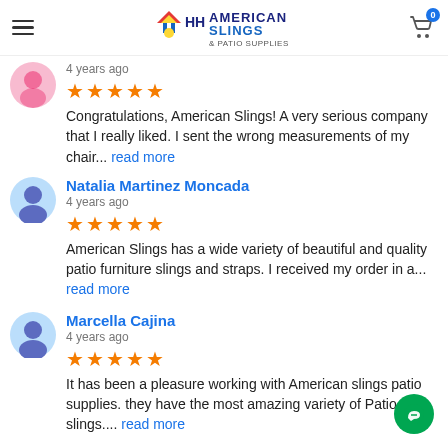[Figure (logo): American Slings & Patio Supplies logo with colorful umbrella/sun icon]
Congratulations, American Slings! A very serious company that I really liked. I sent the wrong measurements of my chair... read more
Natalia Martinez Moncada
4 years ago
American Slings has a wide variety of beautiful and quality patio furniture slings and straps. I received my order in a... read more
Marcella Cajina
4 years ago
It has been a pleasure working with American slings patio supplies. they have the most amazing variety of Patio slings.... read more
See All Reviews